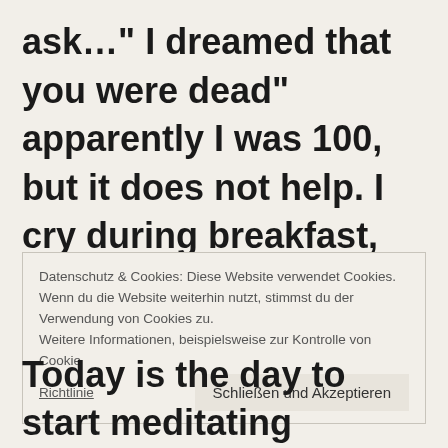ask…” I dreamed that you were dead” apparently I was 100, but it does not help. I cry during breakfast, as I am so tired and exhausted.
Datenschutz & Cookies: Diese Website verwendet Cookies. Wenn du die Website weiterhin nutzt, stimmst du der Verwendung von Cookies zu. Weitere Informationen, beispielsweise zur Kontrolle von Cookies, findest du hier: Cookie-Richtlinie
Today is the day to start meditating